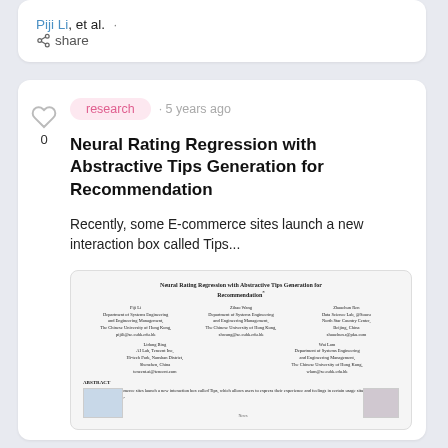Piji Li, et al. · share
research · 5 years ago
Neural Rating Regression with Abstractive Tips Generation for Recommendation
Recently, some E-commerce sites launch a new interaction box called Tips...
[Figure (screenshot): Thumbnail image of the paper 'Neural Rating Regression with Abstractive Tips Generation for Recommendation' showing the paper header with authors Piji Li, Zihao Wang, Zhaochun Ren, Lidong Bing, Wai Lam and an abstract section beginning with 'Recently some E-commerce sites launch a new interaction box called Tips...']